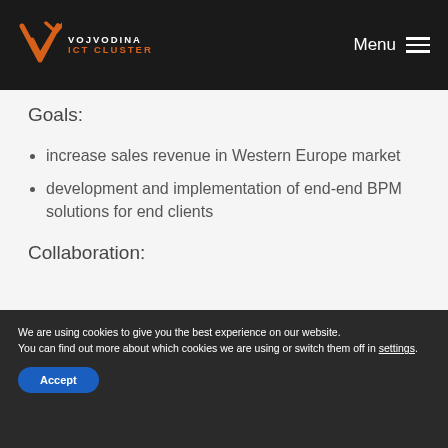Vojvodina ICT Cluster — Menu
Goals:
increase sales revenue in Western Europe market
development and implementation of end-end BPM solutions for end clients
Collaboration:
We are using cookies to give you the best experience on our website.
You can find out more about which cookies we are using or switch them off in settings.
Accept